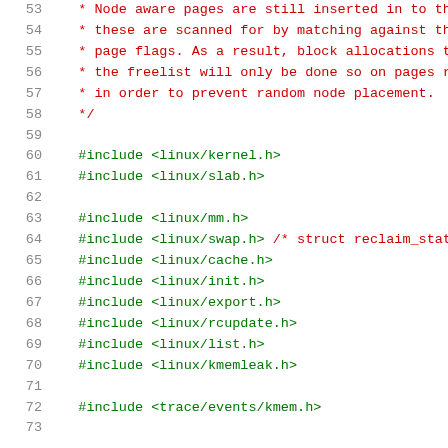Source code listing, lines 53-73, showing C #include directives and comment block
53   * Node aware pages are still inserted in to th
54   * these are scanned for by matching against th
55   * page flags. As a result, block allocations t
56   * the freelist will only be done so on pages r
57   * in order to prevent random node placement.
58   */
59
60   #include <linux/kernel.h>
61   #include <linux/slab.h>
62
63   #include <linux/mm.h>
64   #include <linux/swap.h> /* struct reclaim_state
65   #include <linux/cache.h>
66   #include <linux/init.h>
67   #include <linux/export.h>
68   #include <linux/rcupdate.h>
69   #include <linux/list.h>
70   #include <linux/kmemleak.h>
71
72   #include <trace/events/kmem.h>
73